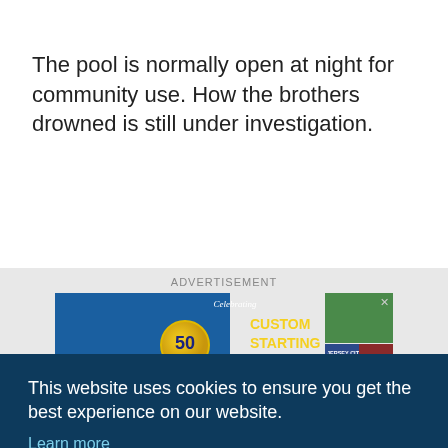The pool is normally open at night for community use. How the brothers drowned is still under investigation.
[Figure (screenshot): Advertisement banner for Spectrum Custom Starting Blocks, celebrating 50 years, with grid of sports images]
This website uses cookies to ensure you get the best experience on our website.
Learn more
Got it!
ment
t, as
hers,
who drowned this evening at our Lincoln